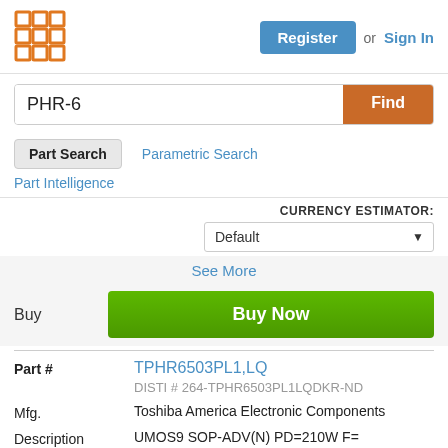[Figure (logo): Orange grid/waffle logo icon]
Register or Sign In
PHR-6
Find
Part Search
Parametric Search
Part Intelligence
CURRENCY ESTIMATOR: Default
See More
Buy
Buy Now
Part #
TPHR6503PL1,LQ
DISTI # 264-TPHR6503PL1LQDKR-ND
Mfg.
Toshiba America Electronic Components
Description
UMOS9 SOP-ADV(N) PD=210W F=1MHZ